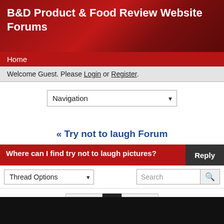B&D Product & Food Review Website Forums
Home
Welcome Guest. Please Login or Register.
Navigation
« Try not to laugh Forum
Where can I find try not to laugh pictures?
Thread Options
Search
« Prev  1  Next »
Was this information helpful?